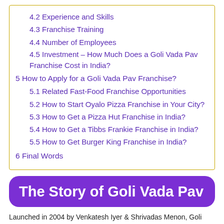4.2 Experience and Skills
4.3 Franchise Training
4.4 Number of Employees
4.5 Investment – How Much Does a Goli Vada Pav Franchise Cost in India?
5 How to Apply for a Goli Vada Pav Franchise?
5.1 Related Fast-Food Franchise Opportunities
5.2 How to Start Oyalo Pizza Franchise in Your City?
5.3 How to Get a Pizza Hut Franchise in India?
5.4 How to Get a Tibbs Frankie Franchise in India?
5.5 How to Get Burger King Franchise in India?
6 Final Words
The Story of Goli Vada Pav
Launched in 2004 by Venkatesh Iyer & Shrivadas Menon, Goli